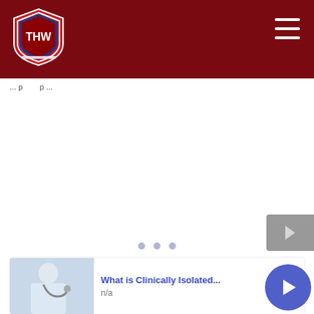[Figure (logo): THW shield logo with white shield shape, blue stripes, and THW text in center on dark red header]
THW navigation header with hamburger menu
... p ... p ...
[Figure (other): Three carousel dot indicators and a gray arrow button]
[Figure (photo): Medical professional with stethoscope thumbnail image]
What is Clinically Isolated... n/a